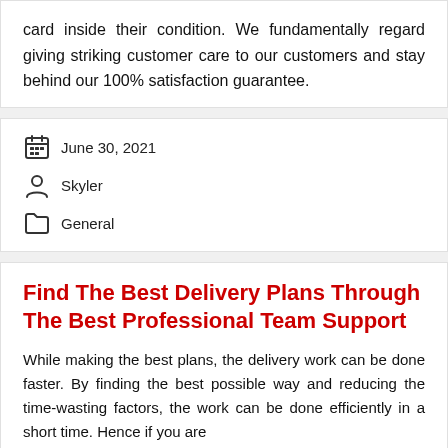card inside their condition. We fundamentally regard giving striking customer care to our customers and stay behind our 100% satisfaction guarantee.
June 30, 2021  Skyler  General
Find The Best Delivery Plans Through The Best Professional Team Support
While making the best plans, the delivery work can be done faster. By finding the best possible way and reducing the time-wasting factors, the work can be done efficiently in a short time. Hence if you are